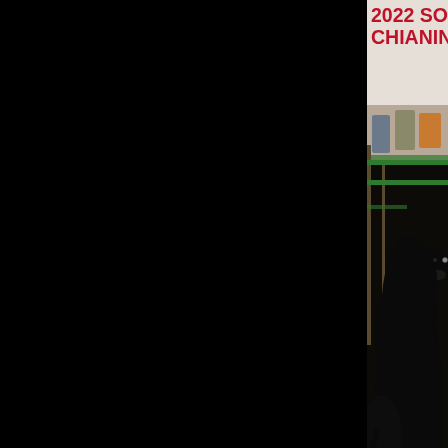2022 SOUTH DAKOTA SPOTLIGHT | S... CHIANINA
[Figure (photo): Black Chianina show steer standing in show ring with green fence panels and spectators in background. A white oval logo/watermark partially visible in lower right corner.]
Champion Chianina Steer
Sire: Here I am
Dam: Tiny Tim
Bred by: Stoltz Exotics
Congratulations to Brady Beitelspacher
[Figure (photo): People gathered inside what appears to be a livestock show building, partially visible at bottom of page.]